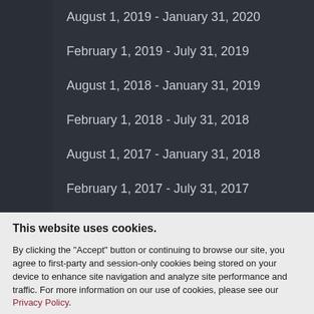August 1, 2019 - January 31, 2020
February 1, 2019 - July 31, 2019
August 1, 2018 - January 31, 2019
February 1, 2018 - July 31, 2018
August 1, 2017 - January 31, 2018
February 1, 2017 - July 31, 2017
This website uses cookies. By clicking the "Accept" button or continuing to browse our site, you agree to first-party and session-only cookies being stored on your device to enhance site navigation and analyze site performance and traffic. For more information on our use of cookies, please see our Privacy Policy.